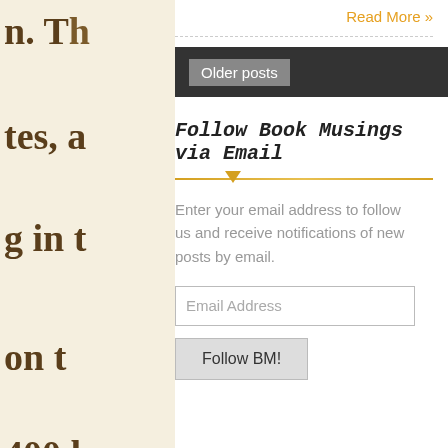Read More »
Older posts
Follow Book Musings via Email
Enter your email address to follow us and receive notifications of new posts by email.
Email Address
Follow BM!